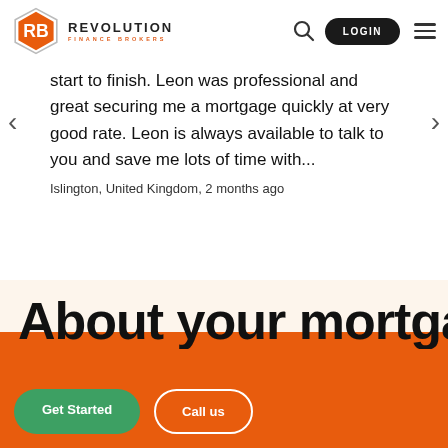REVOLUTION FINANCE BROKERS
start to finish. Leon was professional and great securing me a mortgage quickly at very good rate. Leon is always available to talk to you and save me lots of time with...
Islington, United Kingdom, 2 months ago
About your mortgage
Get Started
Call us